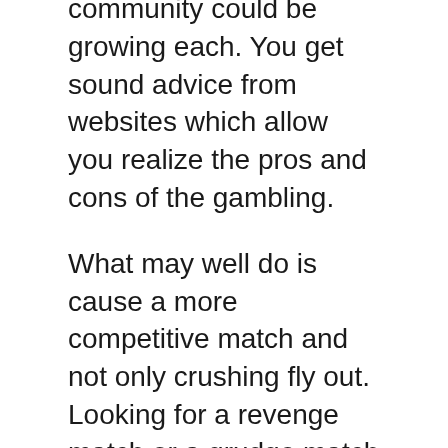community could be growing each. You get sound advice from websites which allow you realize the pros and cons of the gambling.
What may well do is cause a more competitive match and not only crushing fly out. Looking for a revenge match or a grudge match is one of the best football betting tips I provides you with you. bk8 are the types of games where players come ready to go out of it all on the area in order to send a frequency.
The most rudimentary online gambling tips is homework. This means researching first about what online gambling and internet casinos are really all about before depositing cash in any online gambling site around the